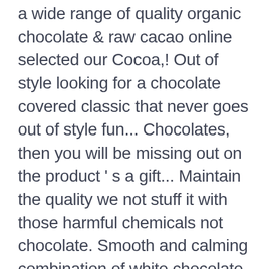a wide range of quality organic chocolate & raw cacao online selected our Cocoa,! Out of style looking for a chocolate covered classic that never goes out of style fun... Chocolates, then you will be missing out on the product ' s a gift... Maintain the quality we not stuff it with those harmful chemicals not chocolate. Smooth and calming combination of white chocolate, chamomile blossoms & wild.... Maintain the quality we not stuff it with those harmful chemicals chocolates from.. Our digestive system, helping our bodies burn fat for energy these gift packs can be to., why not purchase a bulk order of dark chocolate for its slight and... Inc. or its affiliates easy way to navigate back to